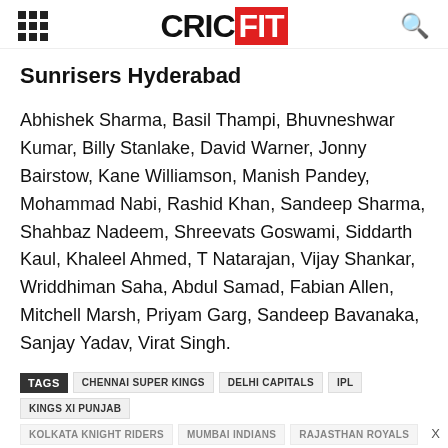CRICFIT
Sunrisers Hyderabad
Abhishek Sharma, Basil Thampi, Bhuvneshwar Kumar, Billy Stanlake, David Warner, Jonny Bairstow, Kane Williamson, Manish Pandey, Mohammad Nabi, Rashid Khan, Sandeep Sharma, Shahbaz Nadeem, Shreevats Goswami, Siddarth Kaul, Khaleel Ahmed, T Natarajan, Vijay Shankar, Wriddhiman Saha, Abdul Samad, Fabian Allen, Mitchell Marsh, Priyam Garg, Sandeep Bavanaka, Sanjay Yadav, Virat Singh.
TAGS CHENNAI SUPER KINGS DELHI CAPITALS IPL KINGS XI PUNJAB KOLKATA KNIGHT RIDERS MUMBAI INDIANS RAJASTHAN ROYALS
[Figure (infographic): Advertisement banner: BRING YOUR FRIENDS CASH FOR BOTH! with LEARN MORE button]